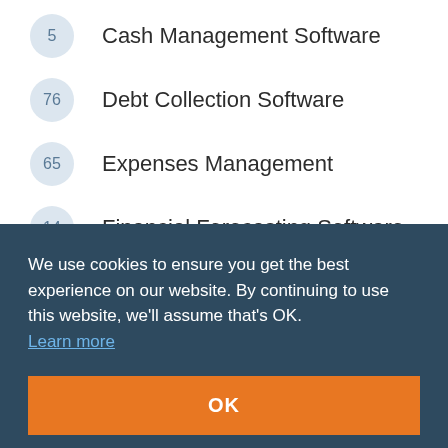5  Cash Management Software
76  Debt Collection Software
65  Expenses Management
14  Financial Forecasting Software
48  Financial Planning Software
We use cookies to ensure you get the best experience on our website. By continuing to use this website, we'll assume that's OK.
Learn more
OK
20  Purchasing Software